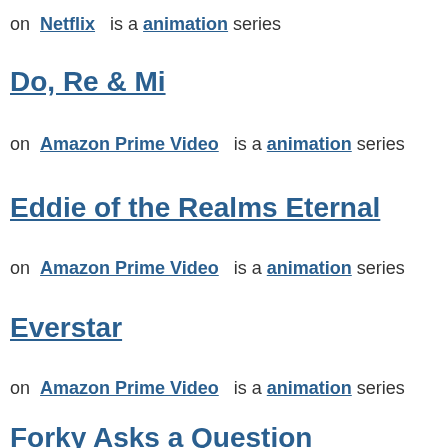on Netflix is a animation series
Do, Re & Mi
on Amazon Prime Video is a animation series
Eddie of the Realms Eternal
on Amazon Prime Video is a animation series
Everstar
on Amazon Prime Video is a animation series
Forky Asks a Question
on Disney+ is a animation series